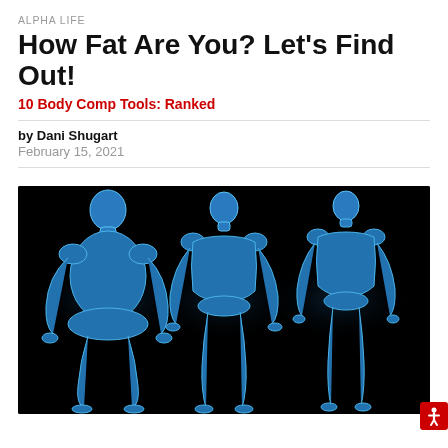ALPHA LIFE
How Fat Are You? Let's Find Out!
10 Body Comp Tools: Ranked
by Dani Shugart
February 15, 2021
[Figure (photo): Three blue-toned 3D rendered human body figures against a black background showing different body compositions: one overweight/obese figure on the left, one muscular/average figure in the center, and one lean/thin figure on the right.]